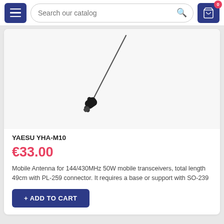Search our catalog | 0
[Figure (photo): A Yaesu YHA-M10 mobile antenna with a long thin rod and black base connector, shown diagonally against a white background.]
YAESU YHA-M10
€33.00
Mobile Antenna for 144/430MHz 50W mobile transceivers, total length 49cm with PL-259 connector. It requires a base or support with SO-239
+ ADD TO CART